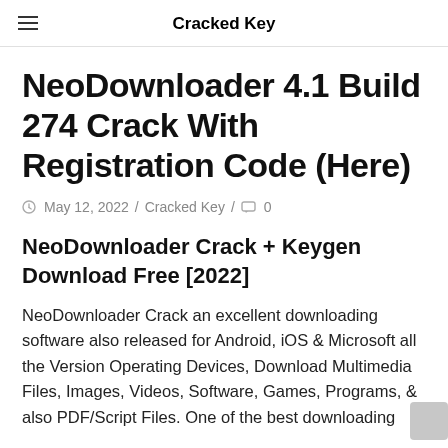Cracked Key
NeoDownloader 4.1 Build 274 Crack With Registration Code (Here)
May 12, 2022 / Cracked Key / 0
NeoDownloader Crack + Keygen Download Free [2022]
NeoDownloader Crack an excellent downloading software also released for Android, iOS & Microsoft all the Version Operating Devices, Download Multimedia Files, Images, Videos, Software, Games, Programs, & also PDF/Script Files. One of the best downloading